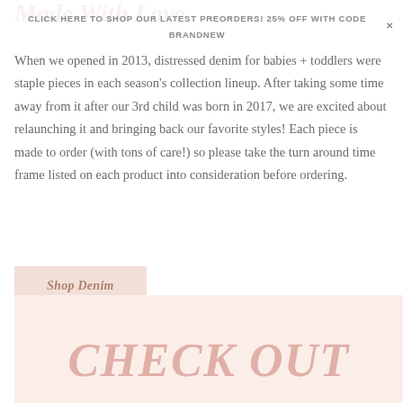Made With Love
CLICK HERE TO SHOP OUR LATEST PREORDERS! 25% OFF WITH CODE BRANDNEW
When we opened in 2013, distressed denim for babies + toddlers were staple pieces in each season's collection lineup. After taking some time away from it after our 3rd child was born in 2017, we are excited about relaunching it and bringing back our favorite styles! Each piece is made to order (with tons of care!) so please take the turn around time frame listed on each product into consideration before ordering.
Shop Denim
[Figure (illustration): Pink background section with large italic bold text reading CHECK OUT]